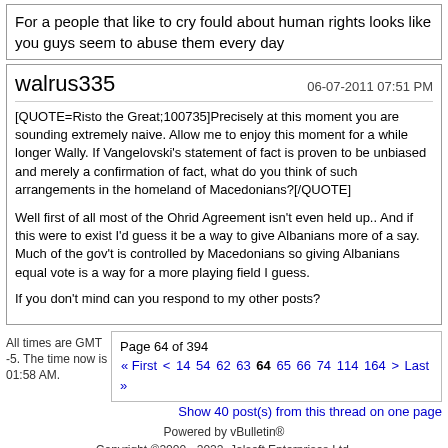For a people that like to cry fould about human rights looks like you guys seem to abuse them every day
walrus335
06-07-2011 07:51 PM
[QUOTE=Risto the Great;100735]Precisely at this moment you are sounding extremely naive. Allow me to enjoy this moment for a while longer Wally. If Vangelovski's statement of fact is proven to be unbiased and merely a confirmation of fact, what do you think of such arrangements in the homeland of Macedonians?[/QUOTE]

Well first of all most of the Ohrid Agreement isn't even held up.. And if this were to exist I'd guess it be a way to give Albanians more of a say. Much of the gov't is controlled by Macedonians so giving Albanians equal vote is a way for a more playing field I guess.

If you don't mind can you respond to my other posts?
All times are GMT -5. The time now is 01:58 AM.
Page 64 of 394 « First < 14 54 62 63 64 65 66 74 114 164 > Last »
Show 40 post(s) from this thread on one page
Powered by vBulletin®
Copyright ©2000 - 2022, Jelsoft Enterprises Ltd.
Macedonian Truth Organisation